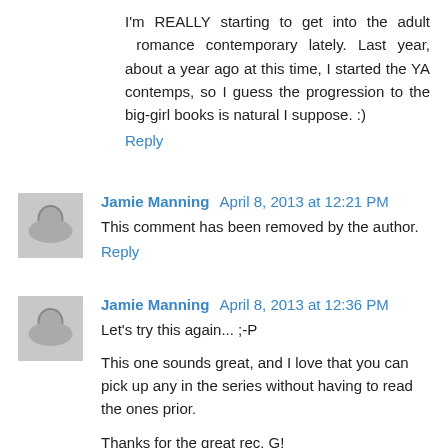I'm REALLY starting to get into the adult romance contemporary lately. Last year, about a year ago at this time, I started the YA contemps, so I guess the progression to the big-girl books is natural I suppose. :)
Reply
Jamie Manning  April 8, 2013 at 12:21 PM
This comment has been removed by the author.
Reply
Jamie Manning  April 8, 2013 at 12:36 PM
Let's try this again... ;-P
This one sounds great, and I love that you can pick up any in the series without having to read the ones prior.
Thanks for the great rec, G!
Reply